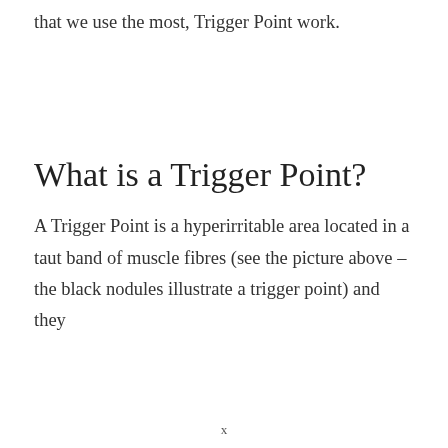that we use the most, Trigger Point work.
What is a Trigger Point?
A Trigger Point is a hyperirritable area located in a taut band of muscle fibres (see the picture above – the black nodules illustrate a trigger point) and they
x